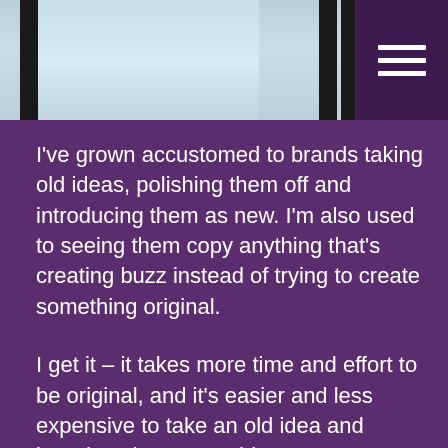[Figure (photo): Top portion of page showing a window with dark frames against light background, partially visible. A hamburger menu icon (three horizontal white lines) appears in a dark purple box in the upper right corner.]
I've grown accustomed to brands taking old ideas, polishing them off and introducing them as new. I'm also used to seeing them copy anything that's creating buzz instead of trying to create something original.
I get it – it takes more time and effort to be original, and it's easier and less expensive to take an old idea and introduce it as something new. Just don't expect us to get too excited about it when it's been done a ton before, especially if you're not doing it any better.
I thought of this when I heard that the office supply retailer, Staples, was launching a quarterly